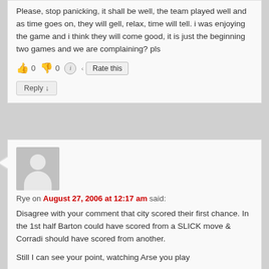Please, stop panicking, it shall be well, the team played well and as time goes on, they will gell, relax, time will tell. i was enjoying the game and i think they will come good, it is just the beginning two games and we are complaining? pls
👍 0 👎 0 ℹ️ < Rate this
Reply ↓
Rye on August 27, 2006 at 12:17 am said:
Disagree with your comment that city scored their first chance. In the 1st half Barton could have scored from a SLICK move & Corradi should have scored from another.
Still I can see your point, watching Arse you play